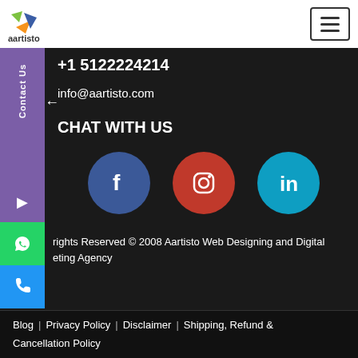aartisto
+1 5122224214
info@aartisto.com
CHAT WITH US
[Figure (illustration): Social media icons: Facebook (blue circle), Instagram (red circle), LinkedIn (teal circle)]
All rights Reserved © 2008 Aartisto Web Designing and Digital Marketing Agency
Blog | Privacy Policy | Disclaimer | Shipping, Refund & Cancellation Policy